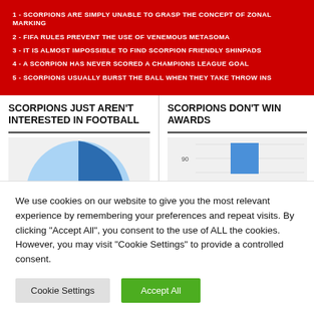1 - SCORPIONS ARE SIMPLY UNABLE TO GRASP THE CONCEPT OF ZONAL MARKING
2 - FIFA RULES PREVENT THE USE OF VENEMOUS METASOMA
3 - IT IS ALMOST IMPOSSIBLE TO FIND SCORPION FRIENDLY SHINPADS
4 - A SCORPION HAS NEVER SCORED A CHAMPIONS LEAGUE GOAL
5 - SCORPIONS USUALLY BURST THE BALL WHEN THEY TAKE THROW INS
SCORPIONS JUST AREN'T INTERESTED IN FOOTBALL
[Figure (pie-chart): Partial pie chart with light blue, dark blue, and yellow slices visible]
SCORPIONS DON'T WIN AWARDS
[Figure (bar-chart): Partial bar chart showing a blue bar, y-axis label 90 visible]
We use cookies on our website to give you the most relevant experience by remembering your preferences and repeat visits. By clicking "Accept All", you consent to the use of ALL the cookies. However, you may visit "Cookie Settings" to provide a controlled consent.